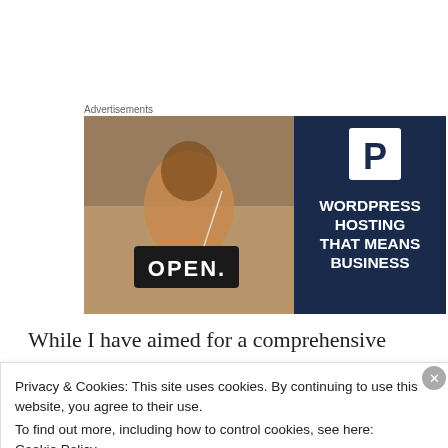Advertisements
[Figure (illustration): Advertisement banner for WordPress Hosting. Left half shows a smiling woman holding an OPEN sign in a shop window. Right half is dark navy blue with a white 'P' icon and bold white text reading: WORDPRESS HOSTING THAT MEANS BUSINESS]
While I have aimed for a comprehensive and
Privacy & Cookies: This site uses cookies. By continuing to use this website, you agree to their use.
To find out more, including how to control cookies, see here:
Cookie Policy
Close and accept